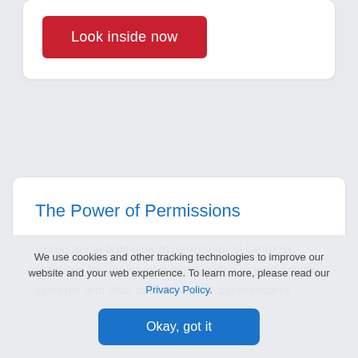[Figure (screenshot): Red button labeled 'Look inside now' on a white card]
The Power of Permissions
Come to the light side of permissions! Get best practices for configuring permissions to your critical systems and data to reduce your cybersecurity
We use cookies and other tracking technologies to improve our website and your web experience. To learn more, please read our Privacy Policy.
Okay, got it